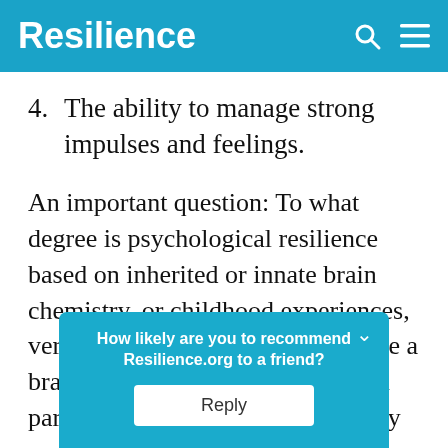Resilience
4. The ability to manage strong impulses and feelings.
An important question: To what degree is psychological resilience based on inherited or innate brain chemistry, or childhood experiences, versus learned skills? We each have a brain chemistry that is determined partly by early l… oy a
How likely are you to recommend Resilience.org to a friend?